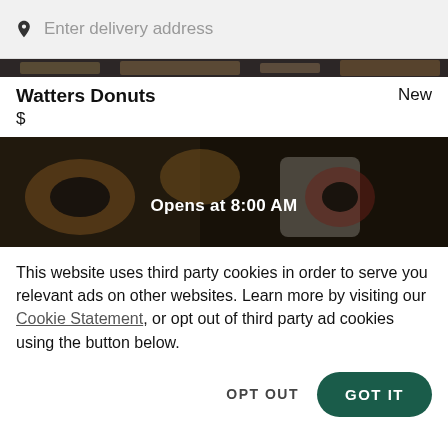Enter delivery address
[Figure (photo): Dark top strip showing partially visible restaurant/food image]
Watters Donuts
New
$
[Figure (photo): Dark overlay photo of donuts/food items with text 'Opens at 8:00 AM' overlaid in white]
This website uses third party cookies in order to serve you relevant ads on other websites. Learn more by visiting our Cookie Statement, or opt out of third party ad cookies using the button below.
OPT OUT
GOT IT